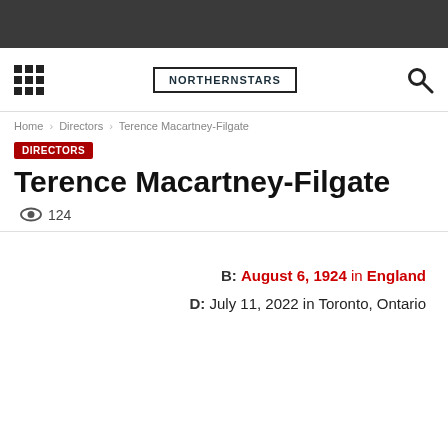[Figure (screenshot): ]
NORTHERNSTARS
Home > Directors > Terence Macartney-Filgate
DIRECTORS
Terence Macartney-Filgate
124
B: August 6, 1924 in England
D: July 11, 2022 in Toronto, Ontario